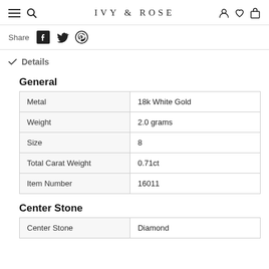IVY & ROSE
Share
Details
General
|  |  |
| --- | --- |
| Metal | 18k White Gold |
| Weight | 2.0 grams |
| Size | 8 |
| Total Carat Weight | 0.71ct |
| Item Number | 16011 |
Center Stone
|  |  |
| --- | --- |
| Center Stone | Diamond |